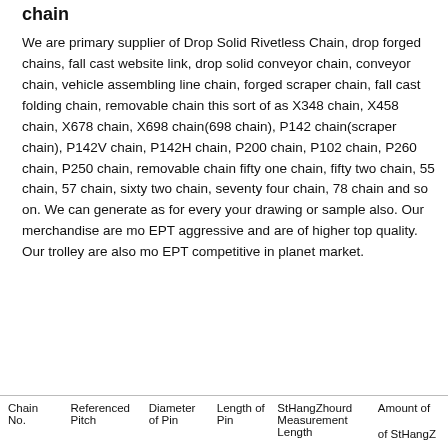chain
We are primary supplier of Drop Solid Rivetless Chain, drop forged chains, fall cast website link, drop solid conveyor chain, conveyor chain, vehicle assembling line chain, forged scraper chain, fall cast folding chain, removable chain this sort of as X348 chain, X458 chain, X678 chain, X698 chain(698 chain), P142 chain(scraper chain), P142V chain, P142H chain, P200 chain, P102 chain, P260 chain, P250 chain, removable chain fifty one chain, fifty two chain, 55 chain, 57 chain, sixty two chain, seventy four chain, 78 chain and so on. We can generate as for every your drawing or sample also. Our merchandise are mo EPT aggressive and are of higher top quality. Our trolley are also mo EPT competitive in planet market.
| Chain No. | Referenced Pitch | Diameter of Pin | Length of Pin | StHangZhourd Measurement Length | Amount of StHangZ... |
| --- | --- | --- | --- | --- | --- |
|  |  |  |  |  |  |